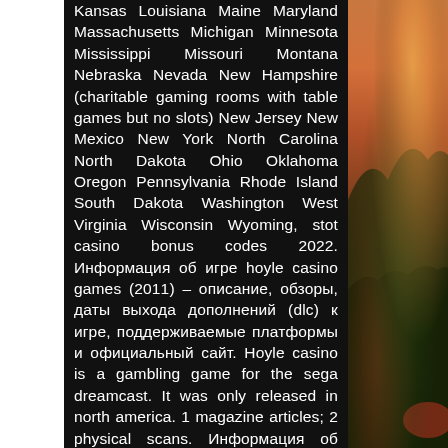Kansas Louisiana Maine Maryland Massachusetts Michigan Minnesota Mississippi Missouri Montana Nebraska Nevada New Hampshire (charitable gaming rooms with table games but no slots) New Jersey New Mexico New York North Carolina North Dakota Ohio Oklahoma Oregon Pennsylvania Rhode Island South Dakota Washington West Virginia Wisconsin Wyoming, stot casino bonus codes 2022. Информация об игре hoyle casino games (2011) – описание, обзоры, даты выхода дополнений (dlc) к игре, поддерживаемые платформы и официальный сайт. Hoyle casino is a gambling game for the sega dreamcast. It was only released in north america. 1 magazine articles; 2 physical scans. Информация об этой странице недоступна. Go all in with hoyle's vegas-style casino action for your pc and mac! includes two bonus slot games! features learn, practice and master your favorite
[Figure (photo): Outdoor sunset/dusk landscape photo showing mountains or hills with trees and orange/red sky, partially visible on the right side of the page]